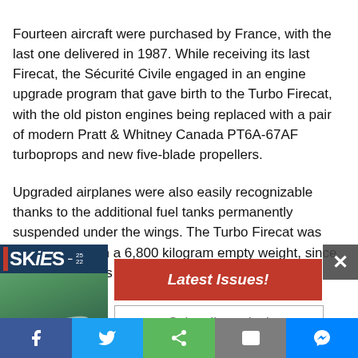Fourteen aircraft were purchased by France, with the last one delivered in 1987. While receiving its last Firecat, the Sécurité Civile engaged in an engine upgrade program that gave birth to the Turbo Firecat, with the old piston engines being replaced with a pair of modern Pratt & Whitney Canada PT6A-67AF turboprops and new five-blade propellers.
Upgraded airplanes were also easily recognizable thanks to the additional fuel tanks permanently suspended under the wings. The Turbo Firecat was also lighter, with a 6,800 kilogram empty weight, since the PT6 turbines were lighter than the original engines.
[Figure (screenshot): Popup overlay on webpage showing Skies magazine thumbnail with aircraft photo, a red 'Latest Issues!' button, a 'Subscribe today!' input box, and a grey close (X) button. Social sharing bar at bottom with Facebook, Twitter, share, email, and Messenger icons.]